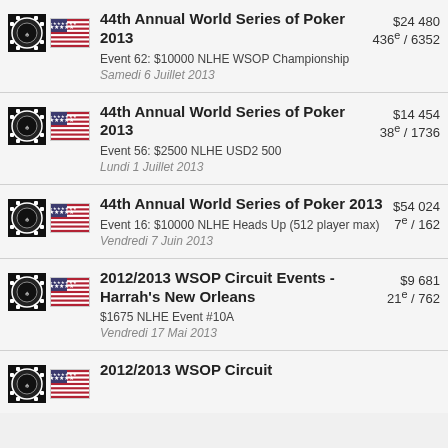| Icons | Tournament | Prize | Placement |
| --- | --- | --- | --- |
| WSOP chip + US flag | 44th Annual World Series of Poker 2013
Event 62: $10000 NLHE WSOP Championship
Samedi 6 Juillet 2013 | $24 480 | 436e / 6352 |
| WSOP chip + US flag | 44th Annual World Series of Poker 2013
Event 56: $2500 NLHE USD2 500
Lundi 1 Juillet 2013 | $14 454 | 38e / 1736 |
| WSOP chip + US flag | 44th Annual World Series of Poker 2013
Event 16: $10000 NLHE Heads Up (512 player max)
Vendredi 7 Juin 2013 | $54 024 | 7e / 162 |
| WSOP chip + US flag | 2012/2013 WSOP Circuit Events - Harrah's New Orleans
$1675 NLHE Event #10A
Vendredi 17 Mai 2013 | $9 681 | 21e / 762 |
| WSOP chip + US flag | 2012/2013 WSOP Circuit |  |  |